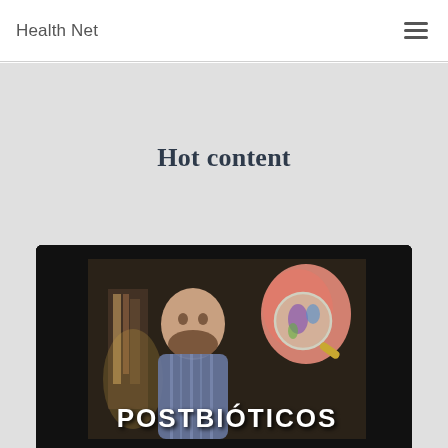Health Net
Hot content
[Figure (screenshot): Video thumbnail showing a man and a gut/intestine illustration with magnifying glass, with text 'POSTBIÓTICOS' overlaid on a dark background, displayed inside a dark laptop/tablet frame]